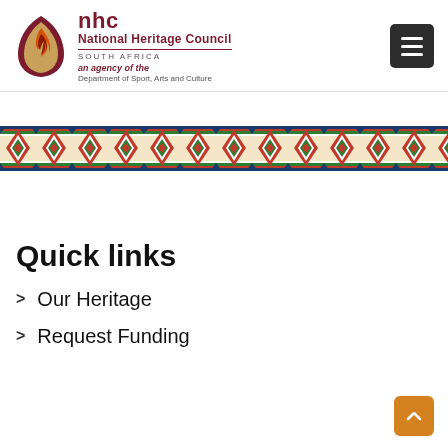[Figure (logo): National Heritage Council South Africa logo — flame/leaf emblem with NHC text, 'an agency of the Department of Sport, Arts and Culture']
[Figure (illustration): Decorative African geometric diamond pattern band in red, green, dark blue, and white, repeating across the full width]
Quick links
Our Heritage
Request Funding